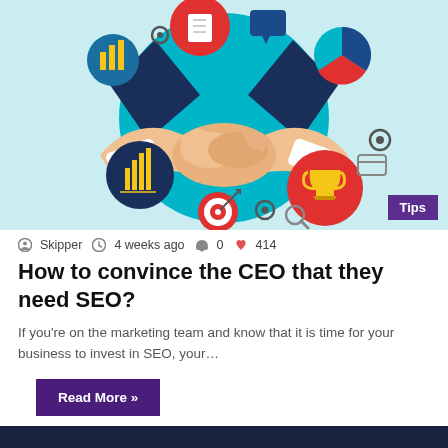[Figure (illustration): Business handshake illustration with icons including bar chart, documents, speech bubble, trophy, target, and a pie chart on a light blue background. Two suited figures shaking hands in the center.]
Skipper  4 weeks ago  0  414
How to convince the CEO that they need SEO?
If you're on the marketing team and know that it is time for your business to invest in SEO, your…
Read More »